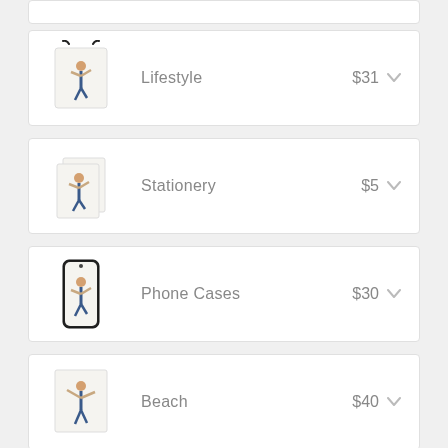Lifestyle $31
Stationery $5
Phone Cases $30
Beach $40